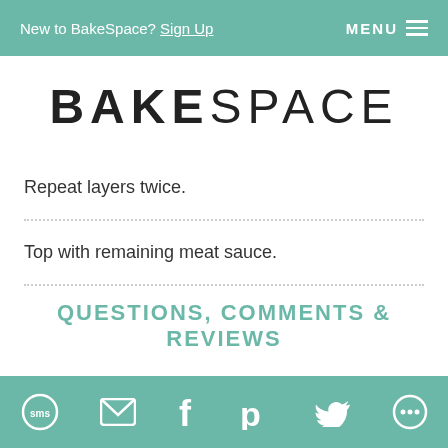New to BakeSpace? Sign Up  MENU
BAKESPACE
Repeat layers twice.
Top with remaining meat sauce.
Cover and cook on low 4-5 hours.
QUESTIONS, COMMENTS & REVIEWS
SMS | Email | Facebook | Pinterest | Twitter | Other